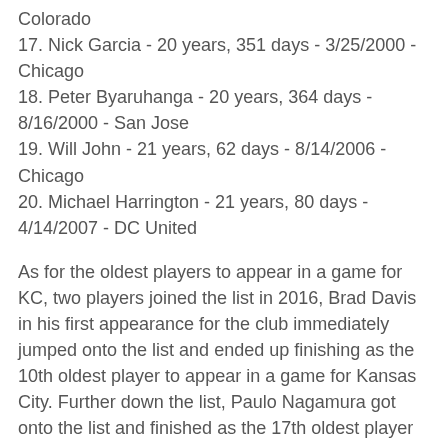Colorado
17. Nick Garcia - 20 years, 351 days - 3/25/2000 - Chicago
18. Peter Byaruhanga - 20 years, 364 days - 8/16/2000 - San Jose
19. Will John - 21 years, 62 days - 8/14/2006 - Chicago
20. Michael Harrington - 21 years, 80 days - 4/14/2007 - DC United
As for the oldest players to appear in a game for KC, two players joined the list in 2016, Brad Davis in his first appearance for the club immediately jumped onto the list and ended up finishing as the 10th oldest player to appear in a game for Kansas City. Further down the list, Paulo Nagamura got onto the list and finished as the 17th oldest player to appear in a game by the time he retired. With KC getting younger in the offseason there’s no one that will be joining any of the lists in 2017 that is currently on the roster.
Ten oldest players to appear in a league game for KC.
1. Preki - 42 years, 113 days - 10/15/2005 - Dallas
2. Mo Johnston - 38 years, 121 days - 8/12/2001 - Colorado
3. Jimmy Nielsen - 36 years, 81 days - 10/26/2013 - Philadelphia